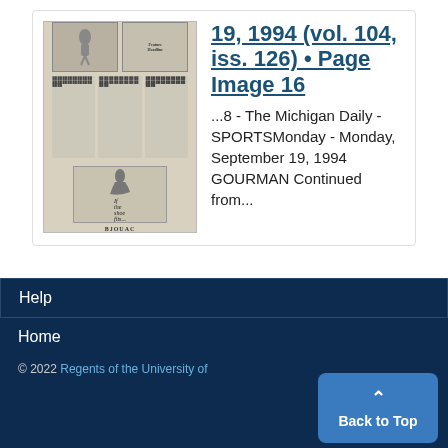[Figure (photo): Thumbnail of a scanned newspaper page (The Michigan Daily sports section, September 19, 1994) showing columns of text and an advertisement with a basketball player and the text 'If the shoe fits...' and 'BJOUAC' at the bottom.]
19, 1994 (vol. 104, iss. 126) • Page Image 16
...8 - The Michigan Daily - SPORTSMonday - Monday, September 19, 1994 GOURMAN Continued from...
Help
Home
© 2022 Regents of the University of